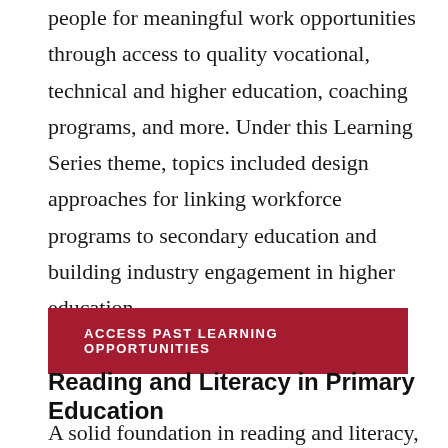people for meaningful work opportunities through access to quality vocational, technical and higher education, coaching programs, and more. Under this Learning Series theme, topics included design approaches for linking workforce programs to secondary education and building industry engagement in higher education.
ACCESS PAST LEARNING OPPORTUNITIES
Reading and Literacy in Primary Education
A solid foundation in reading and literacy, as well as other basic skills, will help prepare individuals to be